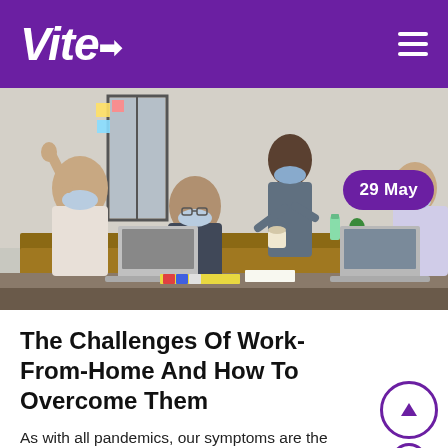Vite
[Figure (photo): Office meeting scene with several people wearing face masks, sitting around a conference table with laptops. One person is standing at the front presenting. Date badge reads '29 May'.]
The Challenges Of Work-From-Home And How To Overcome Them
As with all pandemics, our symptoms are the